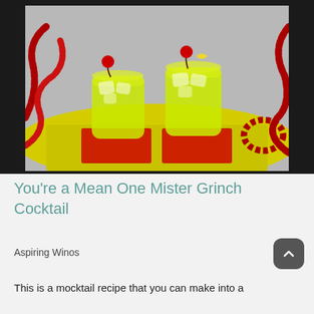[Figure (photo): Two short glass tumblers filled with bright green cocktails and ice, each garnished with a red cherry. The glasses sit on a red coaster atop a yellow decorative mat, surrounded by red beaded garland on a gray background.]
You're a Mean One Mister Grinch Cocktail
Aspiring Winos
This is a mocktail recipe that you can make into a